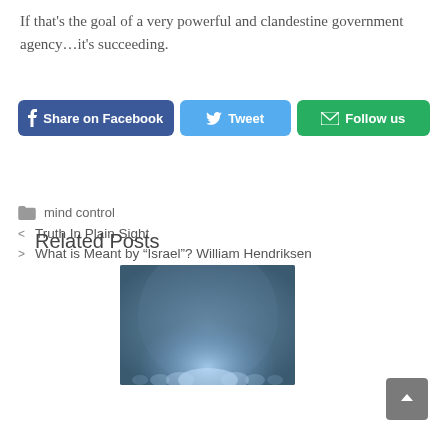If that’s the goal of a very powerful and clandestine government agency…it’s succeeding.
[Figure (screenshot): Share on Facebook, Tweet, and Follow us social media buttons]
mind control
< Truth In Plain Sight
> What is Meant by “Israel”? William Hendriksen
Related Posts
[Figure (photo): Blue-tinted photo of silhouetted human figures in a glowing tunnel-like environment]